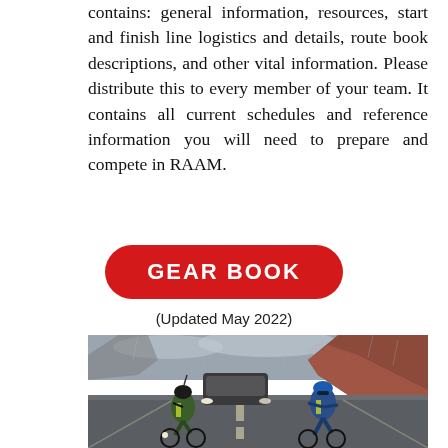contains: general information, resources, start and finish line logistics and details, route book descriptions, and other vital information. Please distribute this to every member of your team. It contains all current schedules and reference information you will need to prepare and compete in RAAM.
GEAR BOOK
(Updated May 2022)
[Figure (photo): Two cyclists riding on a wet highway road in rainy conditions, with a follow vehicle behind them and red rock desert cliffs in the background.]